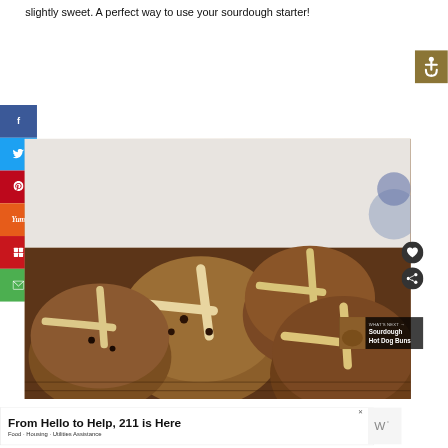slightly sweet. A perfect way to use your sourdough starter!
[Figure (photo): Photo of sourdough hot cross buns with white cross icing on top, close-up view showing golden-brown buns with dried fruit]
WHAT'S NEXT → Sourdough Hot Dog Buns
From Hello to Help, 211 is Here
Food · Housing · Utilities Assistance